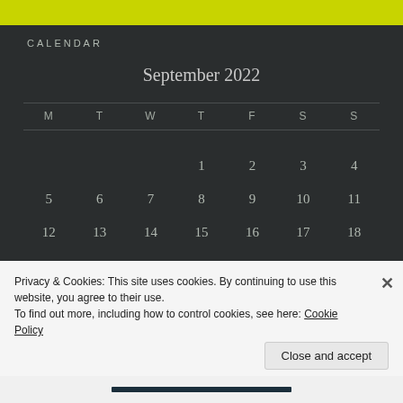CALENDAR
September 2022
| M | T | W | T | F | S | S |
| --- | --- | --- | --- | --- | --- | --- |
|  |  |  | 1 | 2 | 3 | 4 |
| 5 | 6 | 7 | 8 | 9 | 10 | 11 |
| 12 | 13 | 14 | 15 | 16 | 17 | 18 |
| 19 | 20 | 21 | 22 | 23 | 24 | 25 |
Privacy & Cookies: This site uses cookies. By continuing to use this website, you agree to their use.
To find out more, including how to control cookies, see here: Cookie Policy
Close and accept